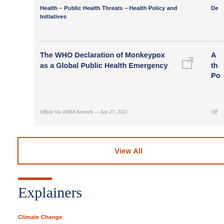Health – Public Health Threats – Health Policy and Initiatives
The WHO Declaration of Monkeypox as a Global Public Health Emergency
Offsite Via JAMA Network — July 27, 2022
View All
Explainers
Climate Change